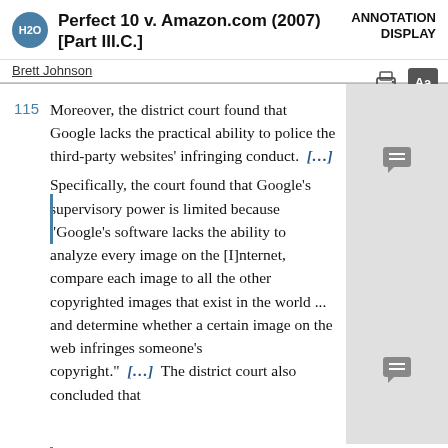Perfect 10 v. Amazon.com (2007) [Part III.C.]
ANNOTATION DISPLAY
Brett Johnson
115  Moreover, the district court found that Google lacks the practical ability to police the third-party websites' infringing conduct. [...] Specifically, the court found that Google's supervisory power is limited because "Google's software lacks the ability to analyze every image on the [I]nternet, compare each image to all the other copyrighted images that exist in the world ... and determine whether a certain image on the web infringes someone's copyright." [...] The district court also concluded that